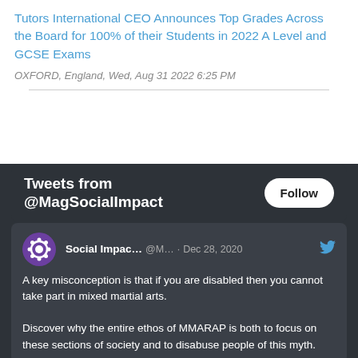Tutors International CEO Announces Top Grades Across the Board for 100% of their Students in 2022 A Level and GCSE Exams
OXFORD, England, Wed, Aug 31 2022 6:25 PM
[Figure (screenshot): Twitter widget showing tweets from @MagSocialImpact with a Follow button and a tweet from Social Impac... (@M...) dated Dec 28, 2020 about mixed martial arts and disability.]